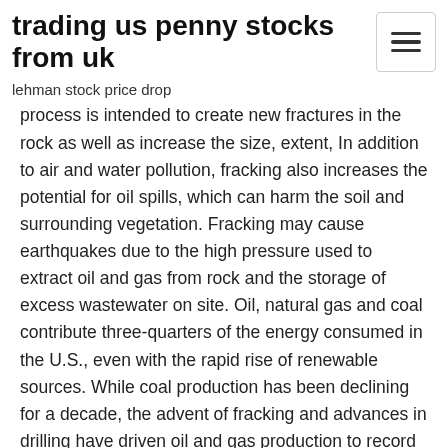trading us penny stocks from uk
lehman stock price drop
process is intended to create new fractures in the rock as well as increase the size, extent, In addition to air and water pollution, fracking also increases the potential for oil spills, which can harm the soil and surrounding vegetation. Fracking may cause earthquakes due to the high pressure used to extract oil and gas from rock and the storage of excess wastewater on site. Oil, natural gas and coal contribute three-quarters of the energy consumed in the U.S., even with the rapid rise of renewable sources. While coal production has been declining for a decade, the advent of fracking and advances in drilling have driven oil and gas production to record levels and turned the U.S. Fracking-the high-pressure injection of water, chemicals and sand into shale deposits to release the gas and oil trapped within the rock-in recent years has been combined with horizontal drilling Hydraulic fracturing, also called fracking, is an important technological advance for the oil and gas industry. In addition to opening up a staggering